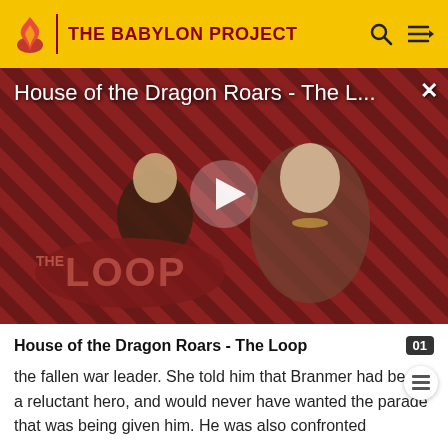THE BABYLON PROJECT
[Figure (screenshot): Video thumbnail for 'House of the Dragon Roars - The L...' showing two characters from House of the Dragon on a red diagonal-striped background with THE LOOP logo overlay and a play button in the center]
House of the Dragon Roars - The Loop
the fallen war leader. She told him that Branmer had been a reluctant hero, and would never have wanted the parade that was being given him. He was also confronted